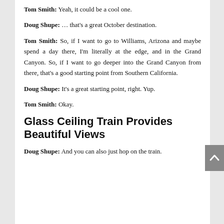Tom Smith: Yeah, it could be a cool one.
Doug Shupe: … that's a great October destination.
Tom Smith: So, if I want to go to Williams, Arizona and maybe spend a day there, I'm literally at the edge, and in the Grand Canyon. So, if I want to go deeper into the Grand Canyon from there, that's a good starting point from Southern California.
Doug Shupe: It's a great starting point, right. Yup.
Tom Smith: Okay.
Glass Ceiling Train Provides Beautiful Views
Doug Shupe: And you can also just hop on the train.